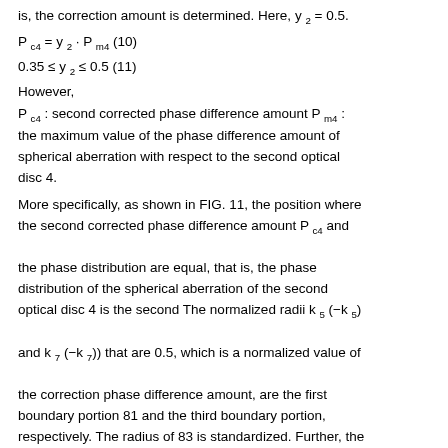is, the correction amount is determined. Here, y 2 = 0.5.
However,
P c4 : second corrected phase difference amount P m4 : the maximum value of the phase difference amount of spherical aberration with respect to the second optical disc 4.
More specifically, as shown in FIG. 11, the position where the second corrected phase difference amount P c4 and the phase distribution are equal, that is, the phase distribution of the spherical aberration of the second optical disc 4 is the second The normalized radii k 5 (-k 5) and k 7 (-k 7)) that are 0.5, which is a normalized value of the correction phase difference amount, are the first boundary portion 81 and the third boundary portion, respectively. The radius of 83 is standardized. Further, the radius of the first boundary portion 81 is r 2 · k 5 where the effective diameter of the second light beam with respect to the second optical disc 4 on the first electrode 73 is r 2.